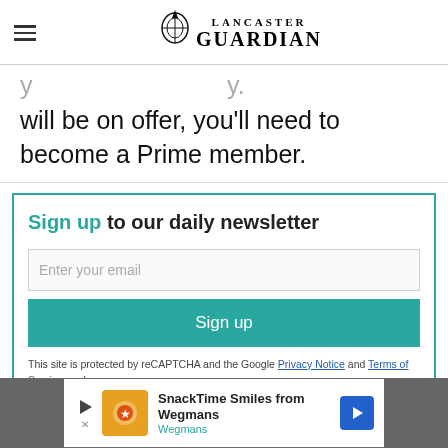Lancaster Guardian
will be on offer, you'll need to become a Prime member.
Sign up to our daily newsletter

Enter your email

Sign up

This site is protected by reCAPTCHA and the Google Privacy Notice and Terms of Service apply.
[Figure (infographic): Advertisement banner: SnackTime Smiles from Wegmans, Wegmans brand ad with play button, product image, and navigation arrow.]